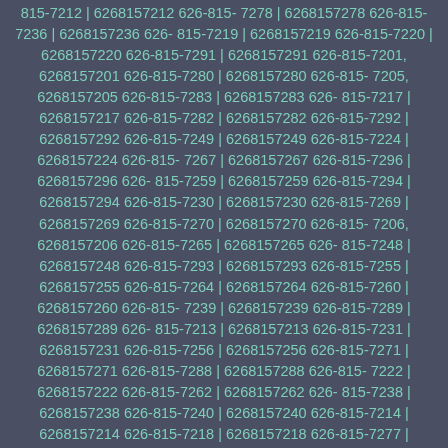626-815-7237 | 6268157237 626-815-7233 | 6268157233 626-815-7212 | 6268157212 626-815-7278 | 6268157278 626-815-7236 | 6268157236 626-815-7219 | 6268157219 626-815-7220 | 6268157220 626-815-7291 | 6268157291 626-815-7201, 6268157201 626-815-7280 | 6268157280 626-815-7205, 6268157205 626-815-7283 | 6268157283 626-815-7217 | 6268157217 626-815-7282 | 6268157282 626-815-7292 | 6268157292 626-815-7249 | 6268157249 626-815-7224 | 6268157224 626-815-7267 | 6268157267 626-815-7296 | 6268157296 626-815-7259 | 6268157259 626-815-7294 | 6268157294 626-815-7230 | 6268157230 626-815-7269 | 6268157269 626-815-7270 | 6268157270 626-815-7206, 6268157206 626-815-7265 | 6268157265 626-815-7248 | 6268157248 626-815-7293 | 6268157293 626-815-7255 | 6268157255 626-815-7264 | 6268157264 626-815-7260 | 6268157260 626-815-7239 | 6268157239 626-815-7289 | 6268157289 626-815-7213 | 6268157213 626-815-7231 | 6268157231 626-815-7256 | 6268157256 626-815-7271 | 6268157271 626-815-7288 | 6268157288 626-815-7222 | 6268157222 626-815-7262 | 6268157262 626-815-7238 | 6268157238 626-815-7240 | 6268157240 626-815-7214 | 6268157214 626-815-7218 | 6268157218 626-815-7277 | 6268157277 626-815-